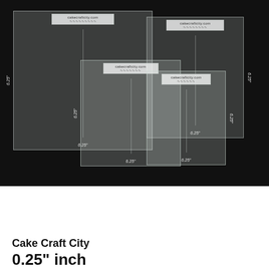[Figure (photo): Product photo showing four transparent acrylic square sheets of descending sizes arranged overlapping on a black background. Each sheet has a 'cakecraftcity.com' logo tag at the top and dimension markings (6.25" measurements) on the sides and bottom.]
Cake Craft City
0.25" inch